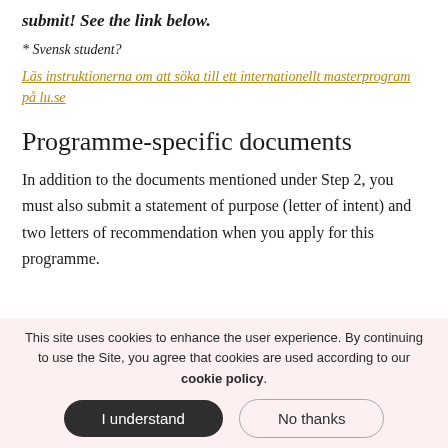submit! See the link below.
* Svensk student?
Läs instruktionerna om att söka till ett internationellt masterprogram på lu.se
Programme-specific documents
In addition to the documents mentioned under Step 2, you must also submit a statement of purpose (letter of intent) and two letters of recommendation when you apply for this programme.
This site uses cookies to enhance the user experience. By continuing to use the Site, you agree that cookies are used according to our cookie policy.